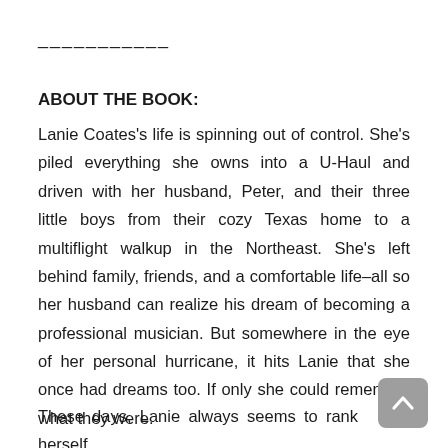___________
ABOUT THE BOOK:
Lanie Coates's life is spinning out of control. She's piled everything she owns into a U-Haul and driven with her husband, Peter, and their three little boys from their cozy Texas home to a multiflight walkup in the Northeast. She's left behind family, friends, and a comfortable life–all so her husband can realize his dream of becoming a professional musician. But somewhere in the eye of her personal hurricane, it hits Lanie that she once had dreams too. If only she could remember what they were.
These days, Lanie always seems to rank herself